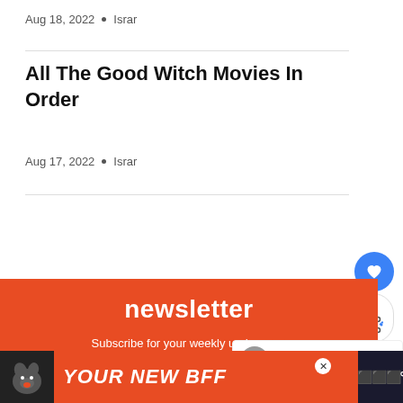Aug 18, 2022  •  Israr
All The Good Witch Movies In Order
Aug 17, 2022  •  Israr
[Figure (infographic): Newsletter signup section with orange/red background, heading 'newsletter', subtitle 'Subscribe for your weekly upda...' and First Name input field. Overlaid with social sharing UI (heart button, share count of 1, share icon button). A 'WHAT'S NEXT' overlay shows 'True Blood' Recap: Meet...' with an avatar.]
[Figure (infographic): Bottom advertisement banner with black background, dog image, orange section reading 'YOUR NEW BFF' in large italic white text, a close X button, and a dark right section with text.]